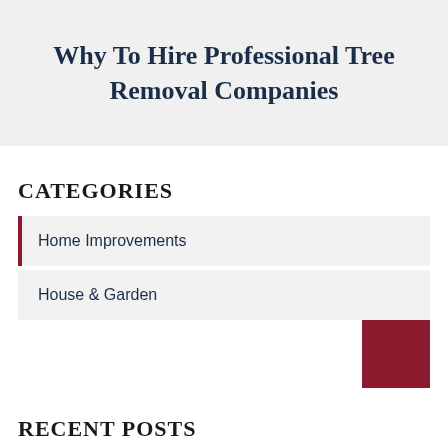Why To Hire Professional Tree Removal Companies
CATEGORIES
Home Improvements
House & Garden
RECENT POSTS